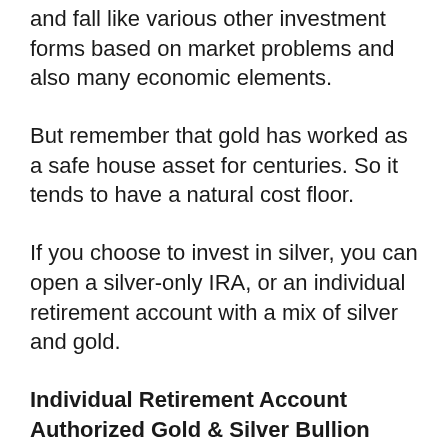and fall like various other investment forms based on market problems and also many economic elements.
But remember that gold has worked as a safe house asset for centuries. So it tends to have a natural cost floor.
If you choose to invest in silver, you can open a silver-only IRA, or an individual retirement account with a mix of silver and gold.
Individual Retirement Account Authorized Gold & Silver Bullion
Due to government laws on rare-earth elements Individual retirement accounts, there are some types of gold and silver you